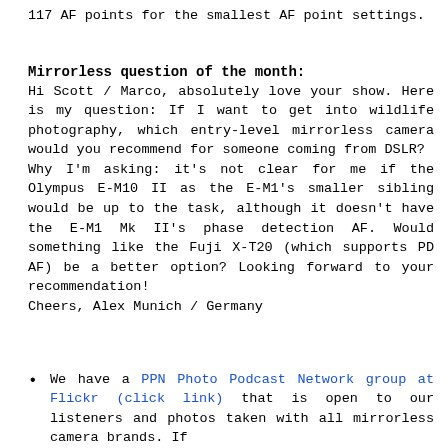117 AF points for the smallest AF point settings.
Mirrorless question of the month:
Hi Scott / Marco, absolutely love your show. Here is my question: If I want to get into wildlife photography, which entry-level mirrorless camera would you recommend for someone coming from DSLR?
Why I'm asking: it's not clear for me if the Olympus E-M10 II as the E-M1's smaller sibling would be up to the task, although it doesn't have the E-M1 Mk II's phase detection AF. Would something like the Fuji X-T20 (which supports PD AF) be a better option? Looking forward to your recommendation!
Cheers, Alex Munich / Germany
We have a PPN Photo Podcast Network group at Flickr (click link) that is open to our listeners and photos taken with all mirrorless camera brands. If